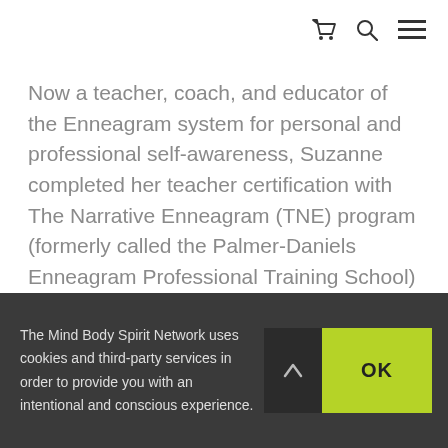[cart icon] [search icon] [menu icon]
Now a teacher, coach, and educator of the Enneagram system for personal and professional self-awareness, Suzanne completed her teacher certification with The Narrative Enneagram (TNE) program (formerly called the Palmer-Daniels Enneagram Professional Training School) in 2008. Suzanne was one of the founding
The Mind Body Spirit Network uses cookies and third-party services in order to provide you with an intentional and conscious experience.